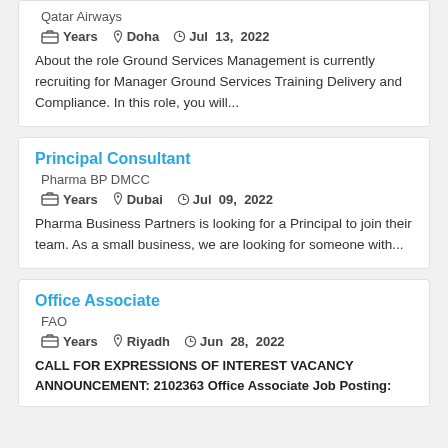Qatar Airways
Years  Doha  Jul 13, 2022
About the role Ground Services Management is currently recruiting for Manager Ground Services Training Delivery and Compliance. In this role, you will...
Principal Consultant
Pharma BP DMCC
Years  Dubai  Jul 09, 2022
Pharma Business Partners is looking for a Principal to join their team. As a small business, we are looking for someone with...
Office Associate
FAO
Years  Riyadh  Jun 28, 2022
CALL FOR EXPRESSIONS OF INTEREST VACANCY ANNOUNCEMENT: 2102363 Office Associate Job Posting: